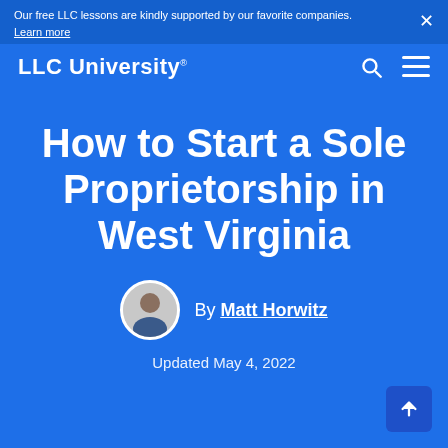Our free LLC lessons are kindly supported by our favorite companies. Learn more
LLC University®
How to Start a Sole Proprietorship in West Virginia
By Matt Horwitz
Updated May 4, 2022